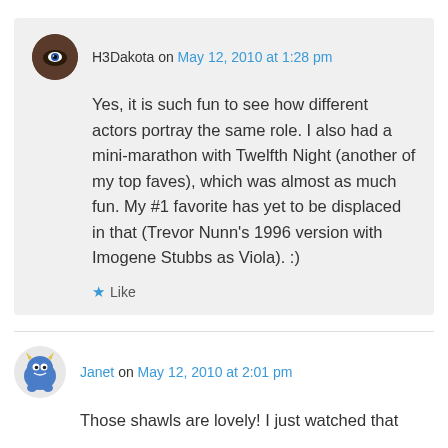H3Dakota on May 12, 2010 at 1:28 pm
Yes, it is such fun to see how different actors portray the same role. I also had a mini-marathon with Twelfth Night (another of my top faves), which was almost as much fun. My #1 favorite has yet to be displaced in that (Trevor Nunn's 1996 version with Imogene Stubbs as Viola). :)
Like
Janet on May 12, 2010 at 2:01 pm
Those shawls are lovely! I just watched that